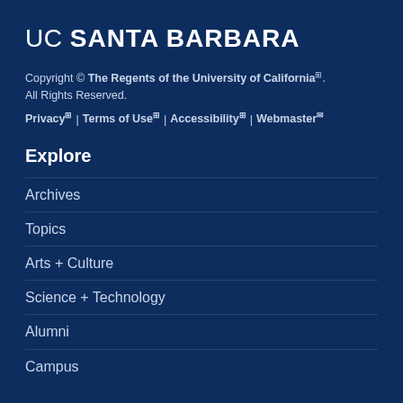UC SANTA BARBARA
Copyright © The Regents of the University of California ®.
All Rights Reserved.
Privacy ® | Terms of Use ® | Accessibility ® | Webmaster ✉
Explore
Archives
Topics
Arts + Culture
Science + Technology
Alumni
Campus
About